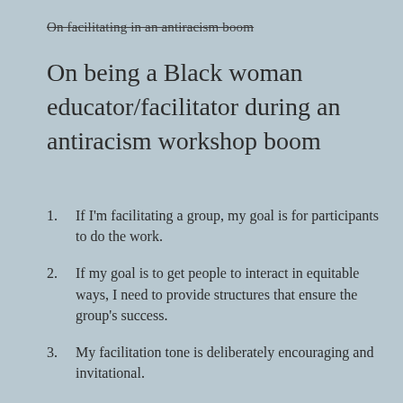On facilitating in an antiracism boom
On being a Black woman educator/facilitator during an antiracism workshop boom
If I'm facilitating a group, my goal is for participants to do the work.
If my goal is to get people to interact in equitable ways, I need to provide structures that ensure the group's success.
My facilitation tone is deliberately encouraging and invitational.
Listening as a central practice is ALWAYS on